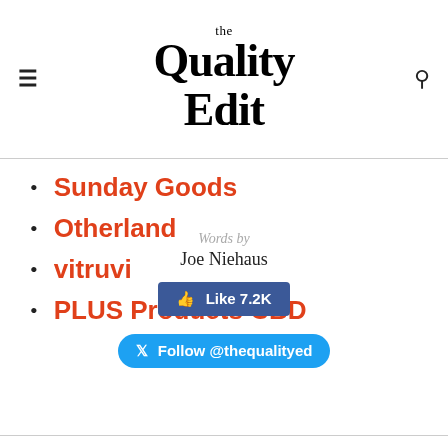the Quality Edit
Sunday Goods
Otherland
vitruvi
PLUS Products CBD
Words by
Joe Niehaus
[Figure (screenshot): Facebook Like button showing 7.2K likes]
[Figure (screenshot): Twitter Follow button for @thequalityed]